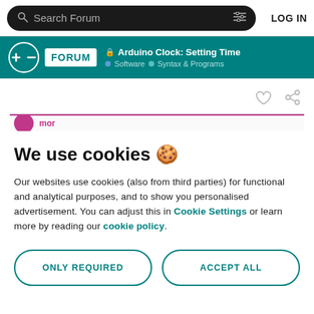Search Forum | LOG IN
Arduino Clock: Setting Time | Software · Syntax & Programs
We use cookies 🍪
Our websites use cookies (also from third parties) for functional and analytical purposes, and to show you personalised advertisement. You can adjust this in Cookie Settings or learn more by reading our cookie policy.
ONLY REQUIRED
ACCEPT ALL